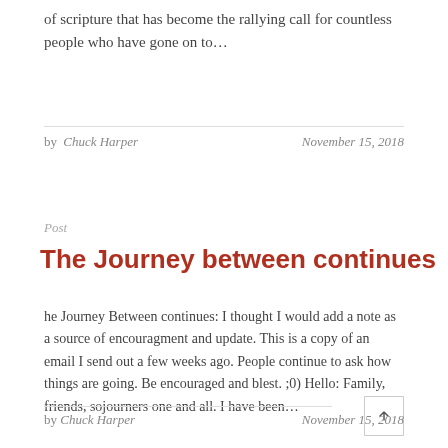of scripture that has become the rallying call for countless people who have gone on to…
by Chuck Harper   November 15, 2018
Post
The Journey between continues
he Journey Between continues: I thought I would add a note as a source of encouragment and update. This is a copy of an email I send out a few weeks ago. People continue to ask how things are going. Be encouraged and blest. ;0) Hello: Family, friends, sojourners one and all. I have been…
by Chuck Harper   November 15, 2018